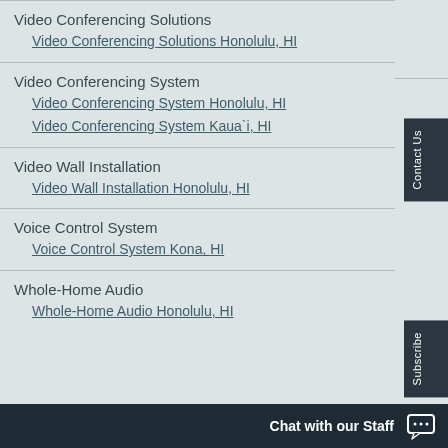Unified Communication Technology
Unified Communication Technology – Honolulu, HI
Video Conferencing Solutions
Video Conferencing Solutions Honolulu, HI
Video Conferencing System
Video Conferencing System Honolulu, HI
Video Conferencing System Kaua`i, HI
Video Wall Installation
Video Wall Installation Honolulu, HI
Voice Control System
Voice Control System Kona, HI
Whole-Home Audio
Whole-Home Audio Honolulu, HI
Chat with our Staff